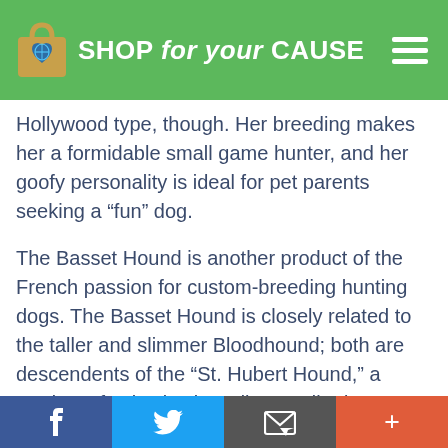SHOP for your CAUSE
Hollywood type, though. Her breeding makes her a formidable small game hunter, and her goofy personality is ideal for pet parents seeking a “fun” dog.
The Basset Hound is another product of the French passion for custom-breeding hunting dogs. The Basset Hound is closely related to the taller and slimmer Bloodhound; both are descendents of the “St. Hubert Hound,” a product of selective breeding credited to a French cleric and “patron saint of the hunt.” St. Hubert’s Hound resembled a bloodhound,
f  [twitter bird]  [email icon]  +